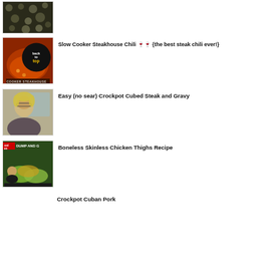[Figure (photo): Thumbnail image of mushrooms or fungi seen from above on dark background]
[Figure (photo): Thumbnail image of Slow Cooker Steakhouse Chili in a pot with a 'back to top' circular overlay button]
Slow Cooker Steakhouse Chili 🍷🍷 {the best steak chili ever!}
[Figure (photo): Thumbnail image of a woman with glasses and blonde hair smiling]
Easy (no sear) Crockpot Cubed Steak and Gravy
[Figure (photo): Thumbnail image showing 'DUMP AND GO' crockpot chicken thighs recipe with text overlay]
Boneless Skinless Chicken Thighs Recipe
Crockpot Cuban Pork